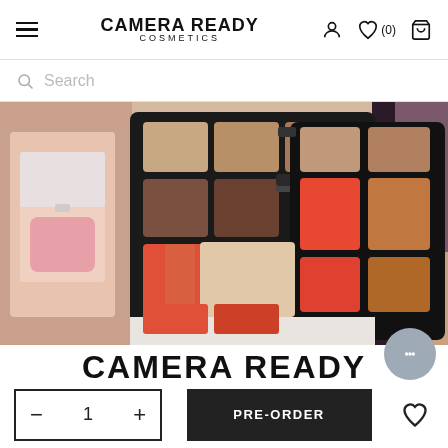Camera Ready Cosmetics — navigation header with hamburger menu, logo, account icon, wishlist (0), and cart icon
Search
[Figure (photo): Close-up photo of makeup palettes showing an array of cosmetic color pans — browns, corals, reds, oranges, and nudes — alongside partial blush compact and model with earring. Camera Ready brand product display.]
CAMERA READY
Quantity selector showing 1, PRE-ORDER button, wishlist heart icon, and chat bubble